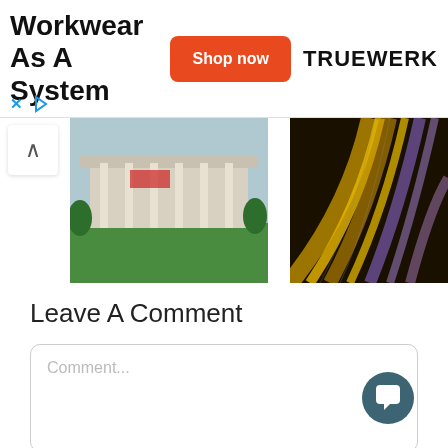[Figure (other): Advertisement banner for Truewerk workwear with orange 'Shop now' button and TRUEWERK brand logo. Title reads 'Workwear As A System'.]
[Figure (photo): Photo of a large neoclassical building with columns and a green lawn in front.]
[Figure (photo): Photo of light trails on a highway at night with streaks of yellow and purple light.]
Leave A Comment
Comment...
Name (required)